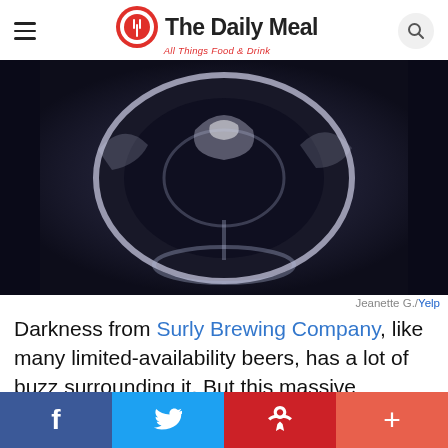The Daily Meal — All Things Food & Drink
[Figure (photo): A glass of dark beer photographed from above on a dark background, showing the rim and base of the glass with light reflections. Photo credit: Jeanette G./Yelp]
Jeanette G./Yelp
Darkness from Surly Brewing Company, like many limited-availability beers, has a lot of buzz surrounding it. But this massive Russian imperial stout deserves the love it gets. With aromas of dark chocolate, fruit, and toffee, it delivers on those rich chocolatey and caramel flavors with hints of nuttiness. This is a big beer with a big, intense name (and label), so proceed into the darkness with